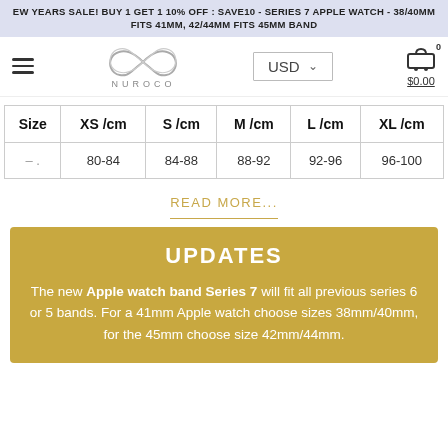EW YEARS SALE! BUY 1 GET 1 10% OFF : SAVE10 - SERIES 7 APPLE WATCH - 38/40MM FITS 41MM, 42/44MM FITS 45MM BAND
[Figure (logo): Nuroco brand logo with infinity symbol]
| Size | XS /cm | S /cm | M /cm | L /cm | XL /cm |
| --- | --- | --- | --- | --- | --- |
| – | 80-84 | 84-88 | 88-92 | 92-96 | 96-100 |
READ MORE...
UPDATES
The new Apple watch band Series 7 will fit all previous series 6 or 5 bands. For a 41mm Apple watch choose sizes 38mm/40mm, for the 45mm choose size 42mm/44mm.